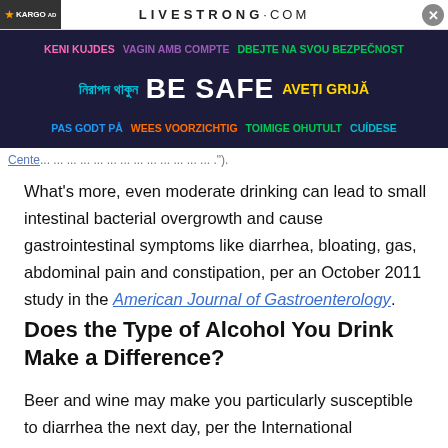LIVESTRONG.COM
[Figure (infographic): Multilingual BE SAFE advertisement banner with colorful text in multiple languages on dark background]
What's more, even moderate drinking can lead to small intestinal bacterial overgrowth and cause gastrointestinal symptoms like diarrhea, bloating, gas, abdominal pain and constipation, per an October 2011 study in the American Journal of Gastroenterology.
Does the Type of Alcohol You Drink Make a Difference?
Beer and wine may make you particularly susceptible to diarrhea the next day, per the International Foundation for Gastrointestinal Disorders.